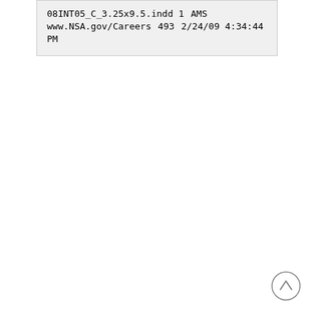08INT05_C_3.25x9.5.indd 1
AMS
www.NSA.gov/Careers
493
2/24/09 4:34:44 PM
[Figure (illustration): Scroll-to-top button: circle with upward-pointing chevron]